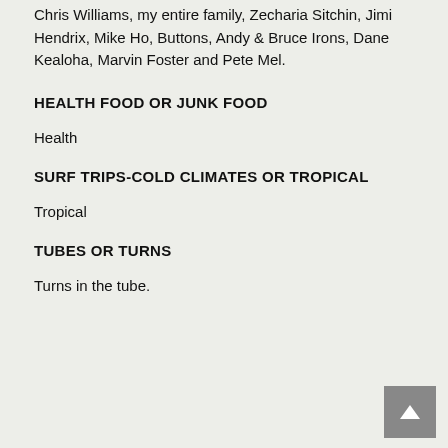Chris Williams, my entire family, Zecharia Sitchin, Jimi Hendrix, Mike Ho, Buttons, Andy & Bruce Irons, Dane Kealoha, Marvin Foster and Pete Mel.
HEALTH FOOD OR JUNK FOOD
Health
SURF TRIPS-COLD CLIMATES OR TROPICAL
Tropical
TUBES OR TURNS
Turns in the tube.